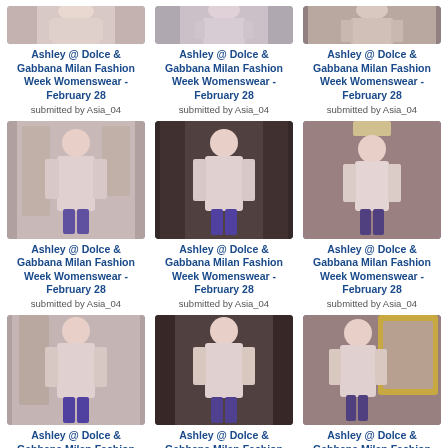[Figure (photo): Ashley at Dolce & Gabbana Milan Fashion Week Womenswear - February 28, partial top view]
Ashley @ Dolce & Gabbana Milan Fashion Week Womenswear - February 28
submitted by Asia_04
[Figure (photo): Ashley at Dolce & Gabbana Milan Fashion Week Womenswear - February 28, partial top view]
Ashley @ Dolce & Gabbana Milan Fashion Week Womenswear - February 28
submitted by Asia_04
[Figure (photo): Ashley at Dolce & Gabbana Milan Fashion Week Womenswear - February 28, partial top view]
Ashley @ Dolce & Gabbana Milan Fashion Week Womenswear - February 28
submitted by Asia_04
[Figure (photo): Ashley at Dolce & Gabbana Milan Fashion Week Womenswear - February 28, full view]
Ashley @ Dolce & Gabbana Milan Fashion Week Womenswear - February 28
submitted by Asia_04
[Figure (photo): Ashley at Dolce & Gabbana Milan Fashion Week Womenswear - February 28, full view]
Ashley @ Dolce & Gabbana Milan Fashion Week Womenswear - February 28
submitted by Asia_04
[Figure (photo): Ashley at Dolce & Gabbana Milan Fashion Week Womenswear - February 28, full view]
Ashley @ Dolce & Gabbana Milan Fashion Week Womenswear - February 28
submitted by Asia_04
[Figure (photo): Ashley at Dolce & Gabbana Milan Fashion Week Womenswear - February 28, partial bottom view]
Ashley @ Dolce & Gabbana Milan Fashion Week Womenswear - February 28
[Figure (photo): Ashley at Dolce & Gabbana Milan Fashion Week Womenswear - February 28, partial bottom view]
Ashley @ Dolce & Gabbana Milan Fashion Week Womenswear - February 28
[Figure (photo): Ashley at Dolce & Gabbana Milan Fashion Week Womenswear - February 28, partial bottom view]
Ashley @ Dolce & Gabbana Milan Fashion Week Womenswear - February 28